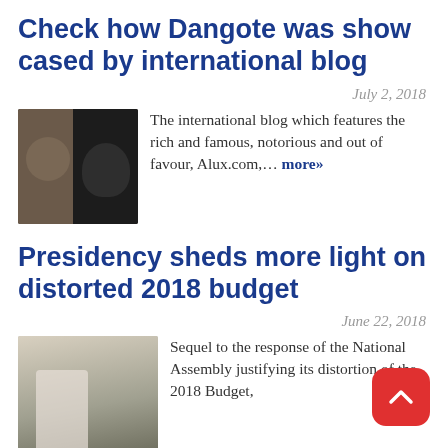Check how Dangote was show cased by international blog
July 2, 2018
The international blog which features the rich and famous, notorious and out of favour, Alux.com,… more»
Presidency sheds more light on distorted 2018 budget
June 22, 2018
Sequel to the response of the National Assembly justifying its distortion of the 2018 Budget,